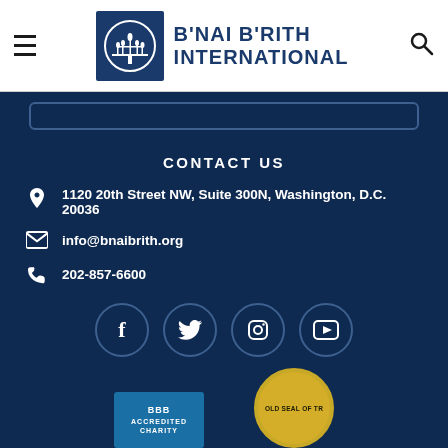[Figure (logo): B'nai B'rith International logo with menorah symbol in blue square, org name in dark blue bold text]
CONTACT US
1120 20th Street NW, Suite 300N, Washington, D.C. 20036
info@bnaibrith.org
202-857-6600
[Figure (infographic): Social media icons: Facebook, Twitter, Instagram, YouTube in circular outlines]
[Figure (logo): BBB Accredited Charity badge and Gold Seal of Transparency badges at bottom]